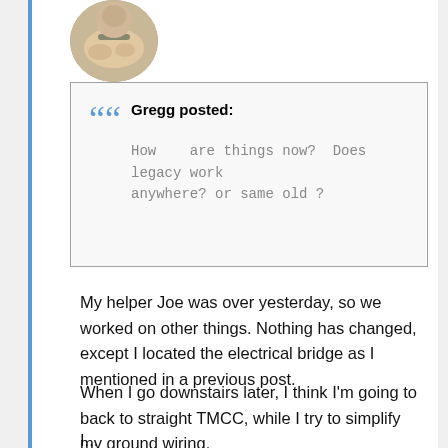[Figure (photo): Circular avatar photo showing a person's hands holding an object]
Gregg posted: How are things now? Does legacy work anywhere? or same old ?
My helper Joe was over yesterday, so we worked on other things. Nothing has changed, except I located the electrical bridge as I mentioned in a previous post.
When I go downstairs later, I think I'm going to back to straight TMCC, while I try to simplify my ground wiring.
I...